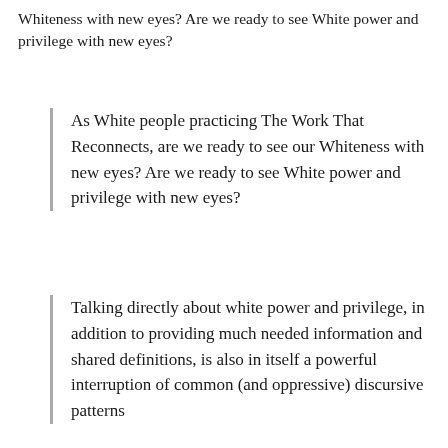Whiteness with new eyes? Are we ready to see White power and privilege with new eyes?
As White people practicing The Work That Reconnects, are we ready to see our Whiteness with new eyes? Are we ready to see White power and privilege with new eyes?
Talking directly about white power and privilege, in addition to providing much needed information and shared definitions, is also in itself a powerful interruption of common (and oppressive) discursive patterns